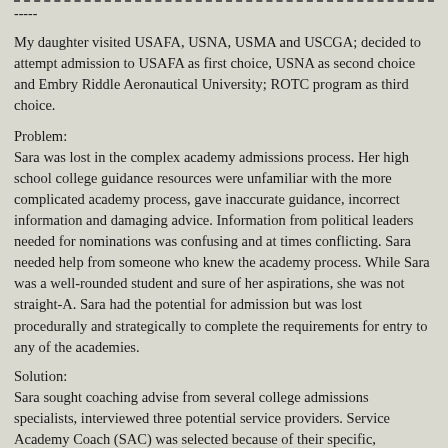-----
My daughter visited USAFA, USNA, USMA and USCGA; decided to attempt admission to USAFA as first choice, USNA as second choice and Embry Riddle Aeronautical University; ROTC program as third choice.
Problem:
Sara was lost in the complex academy admissions process. Her high school college guidance resources were unfamiliar with the more complicated academy process, gave inaccurate guidance, incorrect information and damaging advice. Information from political leaders needed for nominations was confusing and at times conflicting. Sara needed help from someone who knew the academy process. While Sara was a well-rounded student and sure of her aspirations, she was not straight-A. Sara had the potential for admission but was lost procedurally and strategically to complete the requirements for entry to any of the academies.
Solution:
Sara sought coaching advise from several college admissions specialists, interviewed three potential service providers. Service Academy Coach (SAC) was selected because of their specific, specialized understanding of the Service Academies, admissions requirements, scheduling and candidate assessment. SAC